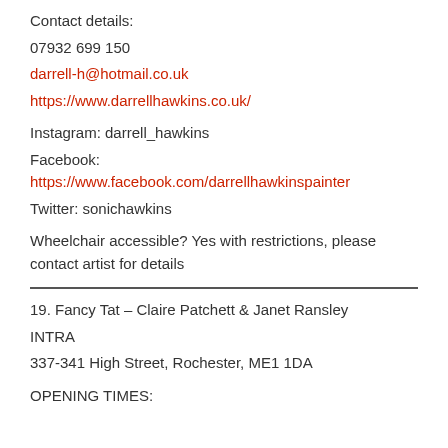Contact details:
07932 699 150
darrell-h@hotmail.co.uk
https://www.darrellhawkins.co.uk/
Instagram: darrell_hawkins
Facebook: https://www.facebook.com/darrellhawkinspainter
Twitter: sonichawkins
Wheelchair accessible? Yes with restrictions, please contact artist for details
19. Fancy Tat – Claire Patchett & Janet Ransley
INTRA
337-341 High Street, Rochester, ME1 1DA
OPENING TIMES: